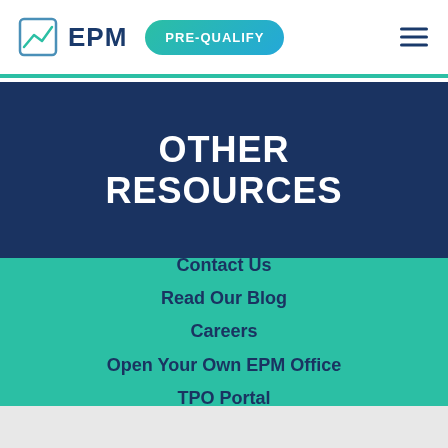EPM | PRE-QUALIFY
OTHER RESOURCES
Contact Us
Read Our Blog
Careers
Open Your Own EPM Office
TPO Portal